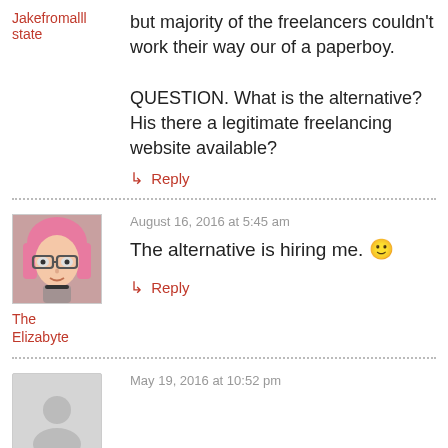Jakefromalll state
but majority of the freelancers couldn't work their way our of a paperboy.

QUESTION. What is the alternative? His there a legitimate freelancing website available?
↳ Reply
[Figure (photo): Avatar photo of The Elizabyte: person with pink hair and glasses]
August 16, 2016 at 5:45 am
The alternative is hiring me. 🙂
The Elizabyte
↳ Reply
[Figure (photo): Gray placeholder avatar]
May 19, 2016 at 10:52 pm